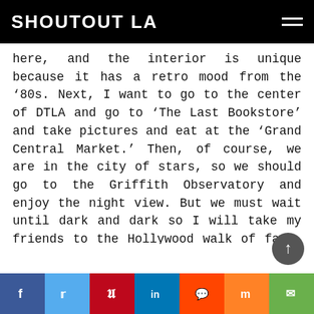SHOUTOUT LA
here, and the interior is unique because it has a retro mood from the ‘80s. Next, I want to go to the center of DTLA and go to ‘The Last Bookstore’ and take pictures and eat at the ‘Grand Central Market.’ Then, of course, we are in the city of stars, so we should go to the Griffith Observatory and enjoy the night view. But we must wait until dark and dark so I will take my friends to the Hollywood walk of fame. And I’m gonna go to Dave & Busters on Vine Street and enjoy the arcade game until night. When the sun goes down, we are going to Pink’s Hot Dogs on Melrose and finally, buy one hot dog at a time and go to the Griffith’s
f  t  p  in  reddit  mix  mail